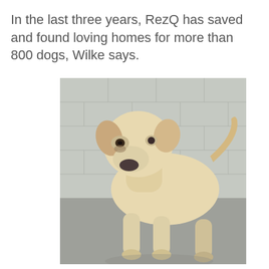In the last three years, RezQ has saved and found loving homes for more than 800 dogs, Wilke says.
[Figure (photo): A cream/white and tan mixed-breed dog standing in what appears to be a shelter kennel, looking toward the camera with sad eyes. The dog is lean, with floppy ears and a dark nose. The background shows gray concrete block walls and a gray floor.]